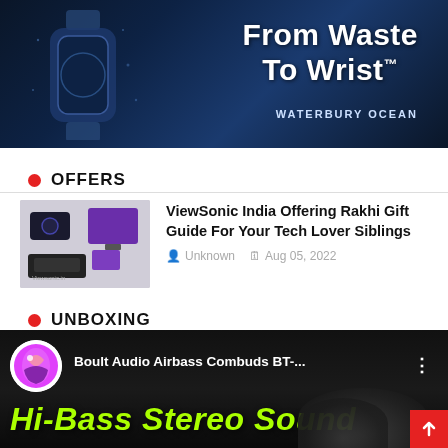[Figure (photo): Dark underwater/ocean themed watch advertisement banner with large white bold text 'From Waste To Wrist™' and subtitle 'WATERBURY OCEAN' on the right, and a watch silhouette on the left.]
OFFERS
[Figure (photo): Thumbnail showing ViewSonic tech products including monitors, tablets, and projectors]
ViewSonic India Offering Rakhi Gift Guide For Your Tech Lover Siblings
Unknown  Aug 05, 2022
UNBOXING
[Figure (screenshot): YouTube video thumbnail for Boult Audio Airbass Combuds BT-... showing a colorful logo, channel name, three-dot menu, and large lime green italic text 'Hi-Bass Stereo Sound' over a dark background with headphones visible.]